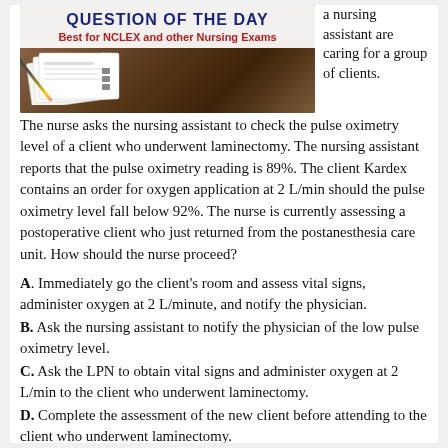[Figure (photo): Header image for 'Question of the Day' with text overlay. Title: QUESTION OF THE DAY. Subtitle: Best for NCLEX and other Nursing Exams. Background shows a wooden desk with papers and a pencil.]
a nursing assistant are caring for a group of clients.
The nurse asks the nursing assistant to check the pulse oximetry level of a client who underwent laminectomy. The nursing assistant reports that the pulse oximetry reading is 89%. The client Kardex contains an order for oxygen application at 2 L/min should the pulse oximetry level fall below 92%. The nurse is currently assessing a postoperative client who just returned from the postanesthesia care unit. How should the nurse proceed?
A. Immediately go the client's room and assess vital signs, administer oxygen at 2 L/minute, and notify the physician.
B. Ask the nursing assistant to notify the physician of the low pulse oximetry level.
C. Ask the LPN to obtain vital signs and administer oxygen at 2 L/min to the client who underwent laminectomy.
D. Complete the assessment of the new client before attending to the client who underwent laminectomy.
Correct Answer: C